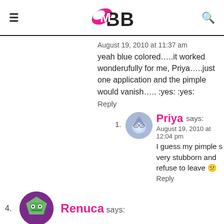IMBB
August 19, 2010 at 11:37 am
yeah blue colored…..it worked wonderufully for me, Priya…..just one application and the pimple would vanish….. :yes: :yes:
Reply
[Figure (illustration): Avatar icon of Priya - blue circular avatar with cartoon face]
Priya says:
August 19, 2010 at 12:04 pm
I guess my pimple s very stubborn and refuse to leave 😕
Reply
[Figure (illustration): Avatar icon of Renuca - green pentagonal robot avatar with purple circle background]
Renuca says: